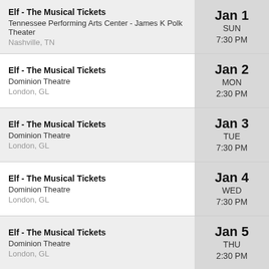Elf - The Musical Tickets | Tennessee Performing Arts Center - James K Polk Theater | Nashville, TN | Jan 1 SUN 7:30 PM
Elf - The Musical Tickets | Dominion Theatre | London, GL | Jan 2 MON 2:30 PM
Elf - The Musical Tickets | Dominion Theatre | London, GL | Jan 3 TUE 7:30 PM
Elf - The Musical Tickets | Dominion Theatre | London, GL | Jan 4 WED 7:30 PM
Elf - The Musical Tickets | Dominion Theatre | London, GL | Jan 5 THU 2:30 PM